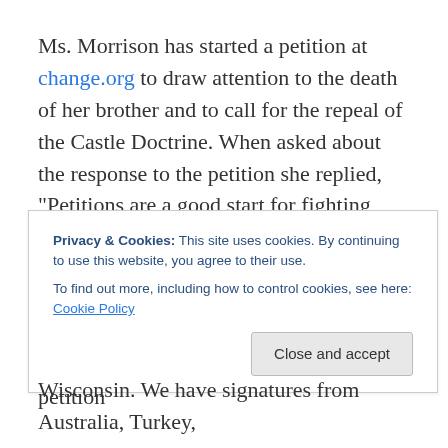Ms. Morrison has started a petition at change.org to draw attention to the death of her brother and to call for the repeal of the Castle Doctrine. When asked about the response to the petition she replied, "Petitions are a good start for fighting things, I think that a good example was the Recall Walker petition that got started in our home town, so after I saw how many people were supporting that and signing that, I realized that starting a petition
Privacy & Cookies: This site uses cookies. By continuing to use this website, you agree to their use. To find out more, including how to control cookies, see here: Cookie Policy
Wisconsin. We have signatures from Australia, Turkey,